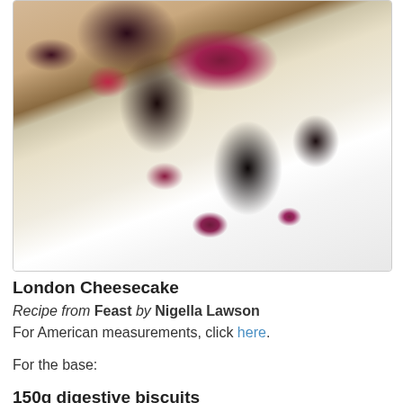[Figure (photo): Close-up photo of a slice of London Cheesecake on a white plate with dark blueberries and purple berry sauce/coulis drizzled around it]
London Cheesecake
Recipe from Feast by Nigella Lawson
For American measurements, click here.
For the base:
150g digestive biscuits